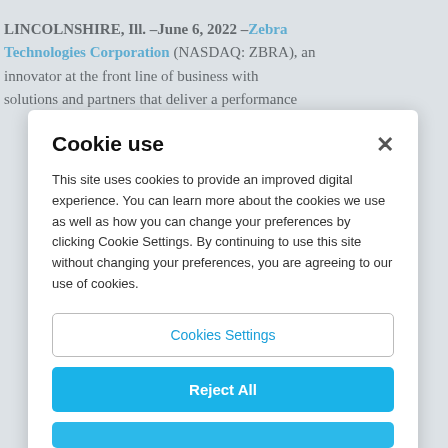LINCOLNSHIRE, Ill. –June 6, 2022 – Zebra Technologies Corporation (NASDAQ: ZBRA), an innovator at the front line of business with solutions and partners that deliver a performance
Cookie use
This site uses cookies to provide an improved digital experience. You can learn more about the cookies we use as well as how you can change your preferences by clicking Cookie Settings. By continuing to use this site without changing your preferences, you are agreeing to our use of cookies.
Cookies Settings
Reject All